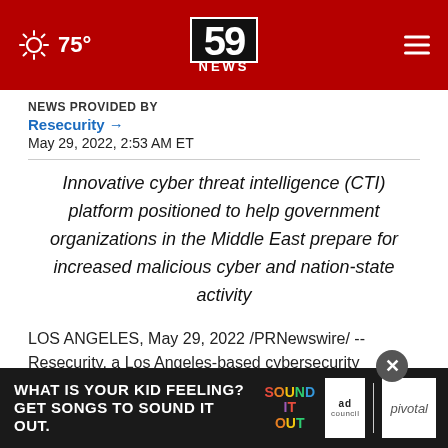75° | 59 NEWS
NEWS PROVIDED BY
Resecurity →
May 29, 2022, 2:53 AM ET
Innovative cyber threat intelligence (CTI) platform positioned to help government organizations in the Middle East prepare for increased malicious cyber and nation-state activity
LOS ANGELES, May 29, 2022 /PRNewswire/ -- Resecurity, a Los Angeles-based cybersecurity company, recently debuted its innovative cyber
[Figure (screenshot): Advertisement overlay: 'WHAT IS YOUR KID FEELING? GET SONGS TO SOUND IT OUT.' with Sound It Out, Ad Council, and Pivotal logos. Close button visible.]